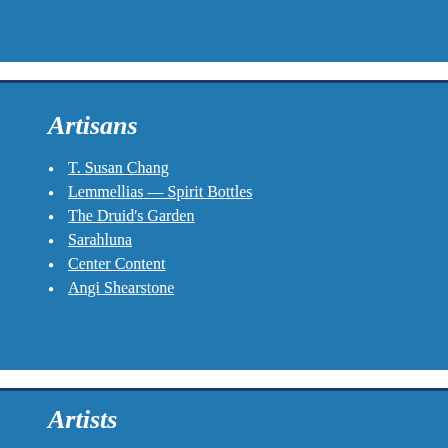Artisans
T. Susan Chang
Lemmellias — Spirit Bottles
The Druid's Garden
Sarahluna
Center Content
Angi Shearstone
Artists